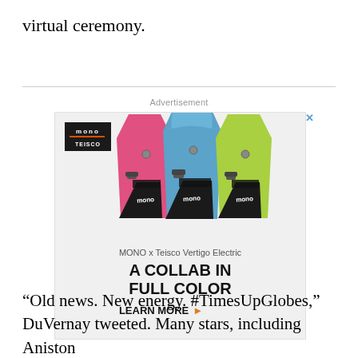virtual ceremony.
[Figure (other): Advertisement for MONO x Teisco Vertigo Electric guitar bags showing three colorful guitar gig bags (pink, blue, green) with text 'A COLLAB IN FULL COLOR' and 'LEARN MORE' call to action]
“Old news. New energy. #TimesUpGlobes,” DuVernay tweeted. Many stars, including Aniston